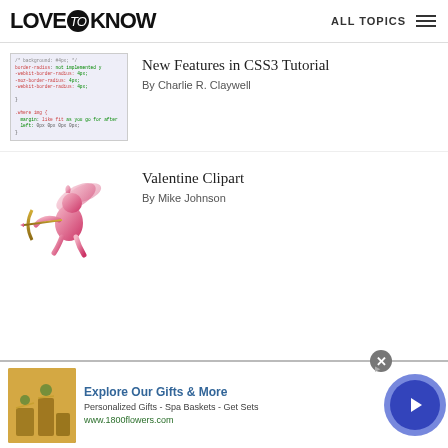LoveToKnow — ALL TOPICS
[Figure (screenshot): Thumbnail showing CSS3 code snippet with colored syntax highlighting on light purple/white background]
New Features in CSS3 Tutorial
By Charlie R. Claywell
[Figure (illustration): Cupid angel clipart in pink/rose gradient color with golden bow and arrow, Valentine themed]
Valentine Clipart
By Mike Johnson
[Figure (infographic): Advertisement banner for 1800flowers.com showing gift products image, Explore Our Gifts & More headline, with blue arrow button]